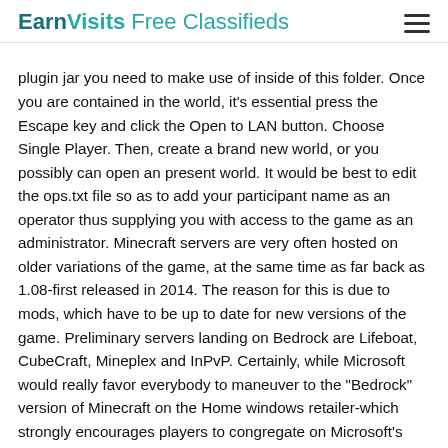EarnVisits Free Classifieds
plugin jar you need to make use of inside of this folder. Once you are contained in the world, it's essential press the Escape key and click the Open to LAN button. Choose Single Player. Then, create a brand new world, or you possibly can open an present world. It would be best to edit the ops.txt file so as to add your participant name as an operator thus supplying you with access to the game as an administrator. Minecraft servers are very often hosted on older variations of the game, at the same time as far back as 1.08-first released in 2014. The reason for this is due to mods, which have to be up to date for new versions of the game. Preliminary servers landing on Bedrock are Lifeboat, CubeCraft, Mineplex and InPvP. Certainly, while Microsoft would really favor everybody to maneuver to the "Bedrock" version of Minecraft on the Home windows retailer-which strongly encourages players to congregate on Microsoft's personal Minecraft servers-the Java model remains dominant thanks to the benefit of hosting your own extensively-